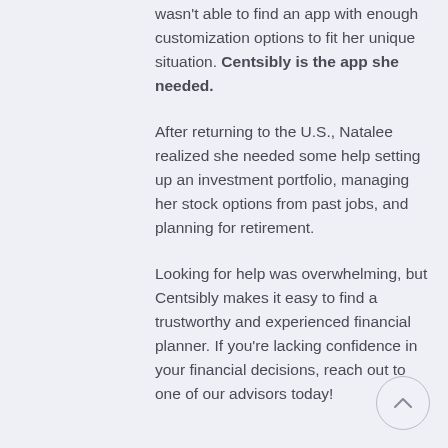wasn't able to find an app with enough customization options to fit her unique situation. Centsibly is the app she needed.
After returning to the U.S., Natalee realized she needed some help setting up an investment portfolio, managing her stock options from past jobs, and planning for retirement.
Looking for help was overwhelming, but Centsibly makes it easy to find a trustworthy and experienced financial planner. If you're lacking confidence in your financial decisions, reach out to one of our advisors today!